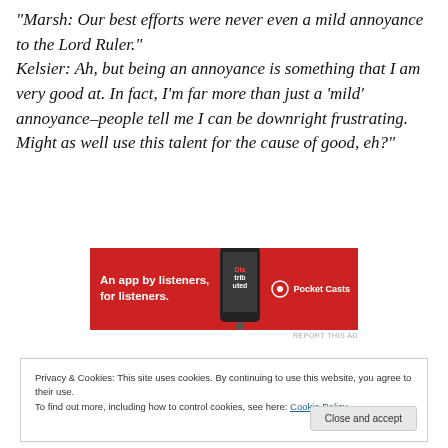“Marsh: Our best efforts were never even a mild annoyance to the Lord Ruler.” Kelsier: Ah, but being an annoyance is something that I am very good at. In fact, I’m far more than just a ‘mild’ annoyance–people tell me I can be downright frustrating. Might as well use this talent for the cause of good, eh?”
[Figure (other): Pocket Casts advertisement banner: red background with white text 'An app by listeners, for listeners.' and Pocket Casts logo, with a phone image showing a podcast app.]
REPORT THIS AD
Privacy & Cookies: This site uses cookies. By continuing to use this website, you agree to their use.
To find out more, including how to control cookies, see here: Cookie Policy
Close and accept